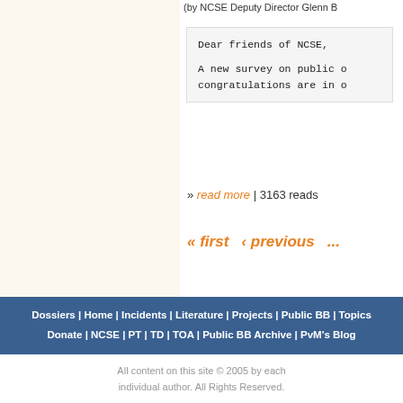(by NCSE Deputy Director Glenn B...
Dear friends of NCSE,

A new survey on public o... congratulations are in o...
» read more | 3163 reads
« first ‹ previous ...
Dossiers | Home | Incidents | Literature | Projects | Public BB | Topics
Donate | NCSE | PT | TD | TOA | Public BB Archive | PvM's Blog
All content on this site © 2005 by each individual author. All Rights Reserved.